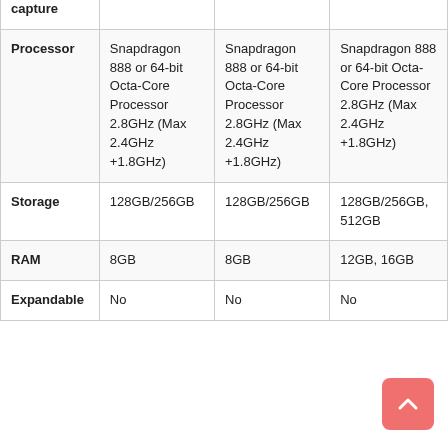|  | Column 1 | Column 2 | Column 3 |
| --- | --- | --- | --- |
|  | (wide-angle), 12-megapixel (ultra-wide) | (wide-angle), 12-megapixel (ultra-wide) | megapixel (telephoto), 10-megapixel (telephoto) |
| Front-facing camera | 10-megapixel | 10-megapixel | 40-megapixel |
| Video capture | 8K | 8K | 8K |
| Processor | Snapdragon 888 or 64-bit Octa-Core Processor 2.8GHz (Max 2.4GHz +1.8GHz) | Snapdragon 888 or 64-bit Octa-Core Processor 2.8GHz (Max 2.4GHz +1.8GHz) | Snapdragon 888 or 64-bit Octa-Core Processor 2.8GHz (Max 2.4GHz +1.8GHz) |
| Storage | 128GB/256GB | 128GB/256GB | 128GB/256GB, 512GB |
| RAM | 8GB | 8GB | 12GB, 16GB |
| Expandable | No | No | No |